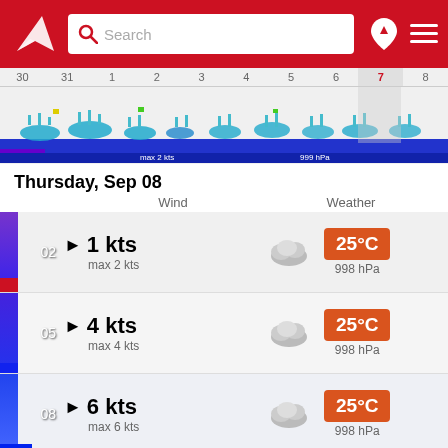Search
[Figure (screenshot): Windguru app header with logo, search bar, and navigation icons on red background]
[Figure (continuous-plot): Wind/weather timeline strip showing dates 30, 31, 1, 2, 3, 4, 5, 6, 7, 8 with wind barbs and colored wave bars]
Thursday, Sep 08
Wind    Weather
02  ▶ 1 kts  max 2 kts  [cloud]  25°C  998 hPa
05  ▶ 4 kts  max 4 kts  [cloud]  25°C  998 hPa
08  ▶ 6 kts  max 6 kts  [cloud]  25°C  998 hPa
11  ▶ 7 kts  [cloud]  31°C  998 hPa